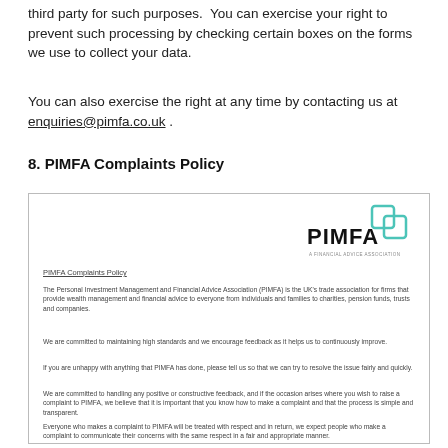third party for such purposes.  You can exercise your right to prevent such processing by checking certain boxes on the forms we use to collect your data.
You can also exercise the right at any time by contacting us at enquiries@pimfa.co.uk .
8. PIMFA Complaints Policy
[Figure (other): PIMFA Complaints Policy document embedded as a boxed inset. Contains the PIMFA logo (teal/green overlapping squares icon with PIMFA text), a heading 'PIMFA Complaints Policy', and several paragraphs of text about the Personal Investment Management and Financial Advice Association's complaints policy.]